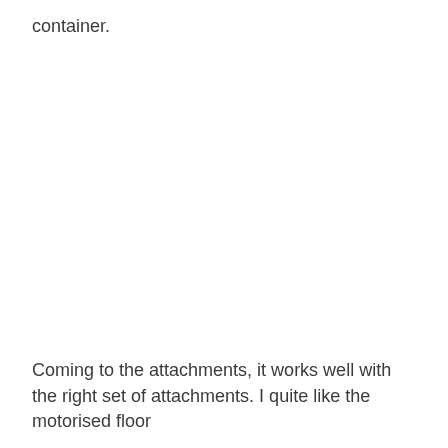container.
Coming to the attachments, it works well with the right set of attachments. I quite like the motorised floor